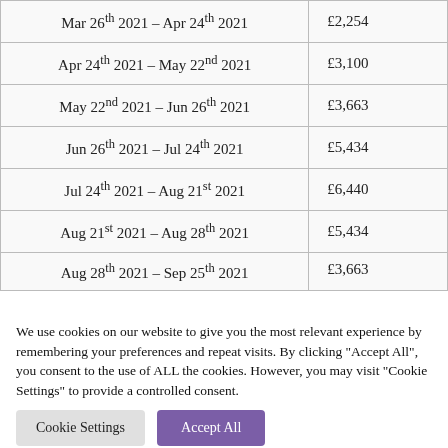| Date Range | Amount |
| --- | --- |
| Mar 26th 2021 – Apr 24th 2021 | £2,254 |
| Apr 24th 2021 – May 22nd 2021 | £3,100 |
| May 22nd 2021 – Jun 26th 2021 | £3,663 |
| Jun 26th 2021 – Jul 24th 2021 | £5,434 |
| Jul 24th 2021 – Aug 21st 2021 | £6,440 |
| Aug 21st 2021 – Aug 28th 2021 | £5,434 |
| Aug 28th 2021 – Sep 25th 2021 | £3,663 |
We use cookies on our website to give you the most relevant experience by remembering your preferences and repeat visits. By clicking "Accept All", you consent to the use of ALL the cookies. However, you may visit "Cookie Settings" to provide a controlled consent.